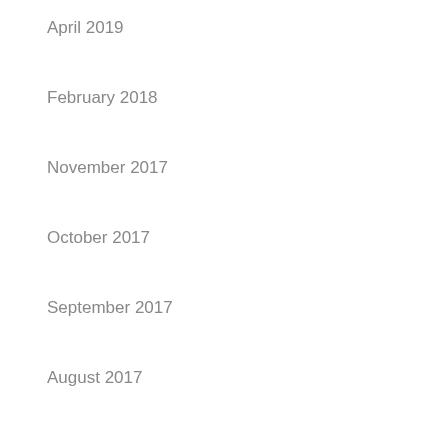April 2019
February 2018
November 2017
October 2017
September 2017
August 2017
July 2017
June 2017
May 2017
Categories
Commercial Printer
Coupons
File Checking FAQ
General FAQ